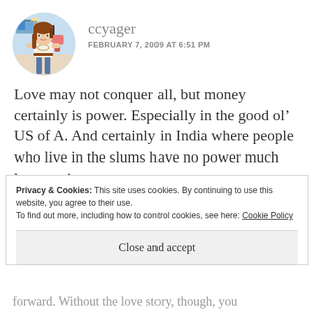ccyager
FEBRUARY 7, 2009 AT 6:51 PM
Love may not conquer all, but money certainly is power. Especially in the good ol’ US of A. And certainly in India where people who live in the slums have no power much less a voice.
Privacy & Cookies: This site uses cookies. By continuing to use this website, you agree to their use.
To find out more, including how to control cookies, see here: Cookie Policy
Close and accept
forward. Without the love story, though, you